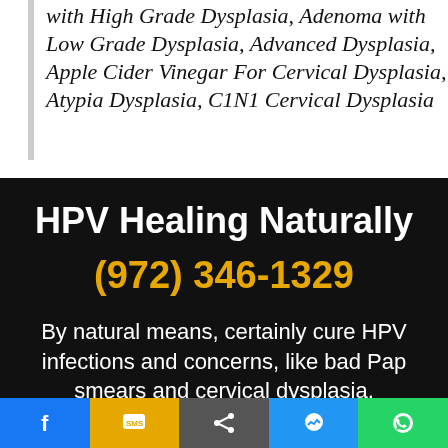with High Grade Dysplasia, Adenoma with Low Grade Dysplasia, Advanced Dysplasia, Apple Cider Vinegar For Cervical Dysplasia, Atypia Dysplasia, C1N1 Cervical Dysplasia
HPV Healing Naturally
(972) 346-1329
By natural means, certainly cure HPV infections and concerns, like bad Pap smears and cervical dysplasia.